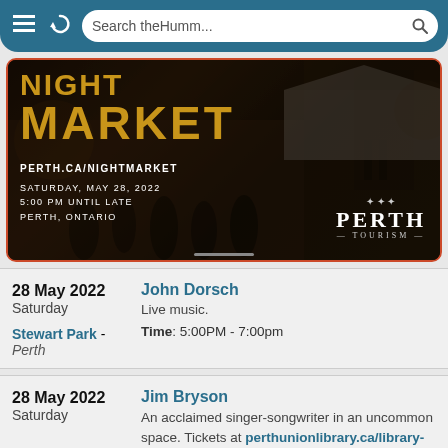[Figure (screenshot): Mobile browser top bar with hamburger menu, refresh icon, and search bar reading 'Search theHumm...']
[Figure (photo): Night Market promotional image showing 'NIGHT MARKET' text in gold, PERTH.CA/NIGHTMARKET, Saturday May 28 2022 5:00 PM Until Late Perth Ontario, Perth Tourism logo]
28 May 2022
Saturday
John Dorsch
Live music.
Time: 5:00PM - 7:00pm
Stewart Park - Perth
28 May 2022
Saturday
Jim Bryson
An acclaimed singer-songwriter in an uncommon space. Tickets at perthunionlibrary.ca/library-after-dark. Fundraiser for the Perth & District Library.